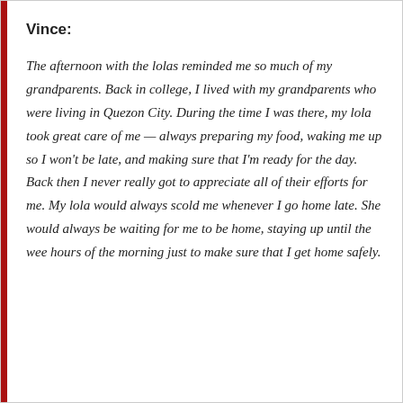Vince:
The afternoon with the lolas reminded me so much of my grandparents. Back in college, I lived with my grandparents who were living in Quezon City. During the time I was there, my lola took great care of me — always preparing my food, waking me up so I won't be late, and making sure that I'm ready for the day. Back then I never really got to appreciate all of their efforts for me. My lola would always scold me whenever I go home late. She would always be waiting for me to be home, staying up until the wee hours of the morning just to make sure that I get home safely.